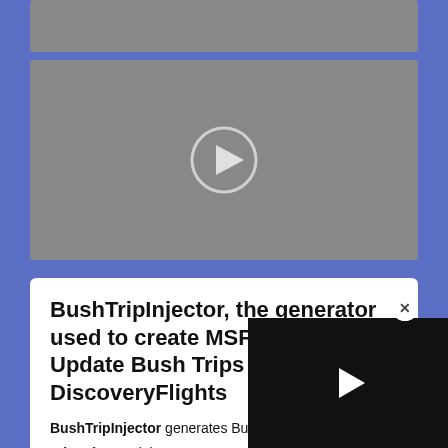[Figure (screenshot): Gray top bar placeholder]
[Figure (screenshot): Video player placeholder with circular play button icon]
BushTripInjector, the generator used to create MSFS World Update Bush Trips and DiscoveryFlights
BushTripInjector generates Bush Trips from LittleNavMa... DiscoveryFlights from so... coordinates or heights for t... All MSFS Airports, runways a...
[Figure (screenshot): Floating video overlay with play button in bottom right corner]